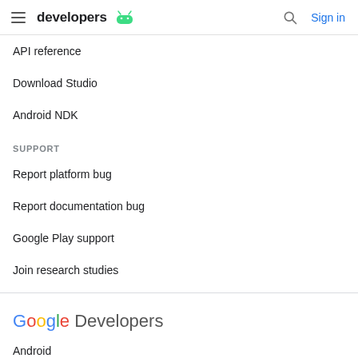developers (Android logo) | Search | Sign in
API reference
Download Studio
Android NDK
SUPPORT
Report platform bug
Report documentation bug
Google Play support
Join research studies
Google Developers
Android